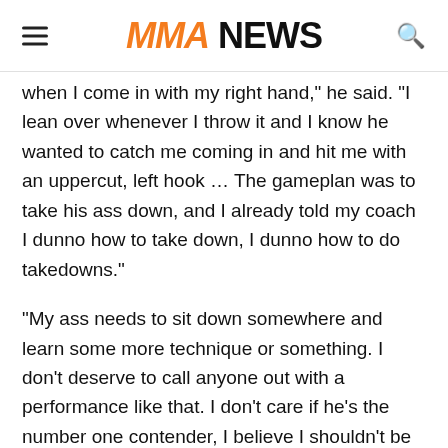MMA NEWS
when I come in with my right hand," he said. "I lean over whenever I throw it and I know he wanted to catch me coming in and hit me with an uppercut, left hook … The gameplan was to take his ass down, and I already told my coach I dunno how to take down, I dunno how to do takedowns."
"My ass needs to sit down somewhere and learn some more technique or something. I don't deserve to call anyone out with a performance like that. I don't care if he's the number one contender, I believe I shouldn't be fighting no one really, after a performance like that."